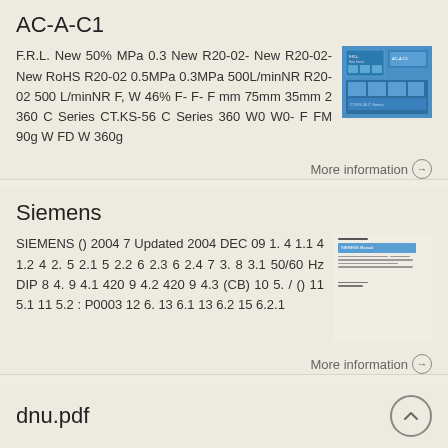AC-A-C1
F.R.L. New 50% MPa 0.3 New R20-02- New R20-02- New RoHS R20-02 0.5MPa 0.3MPa 500L/minNR R20-02 500 L/minNR F, W 46% F- F- F mm 75mm 35mm 2 360 C Series CT.KS-56 C Series 360 W0 W0- F FM 90g W FD W 360g
More information →
Siemens
SIEMENS () 2004 7 Updated 2004 DEC 09 1. 4 1.1 4 1.2 4 2. 5 2.1 5 2.2 6 2.3 6 2.4 7 3. 8 3.1 50/60 Hz DIP 8 4. 9 4.1 420 9 4.2 420 9 4.3 (CB) 10 5. / () 11 5.1 11 5.2 : P0003 12 6. 13 6.1 13 6.2 15 6.2.1
More information →
dnu.pdf